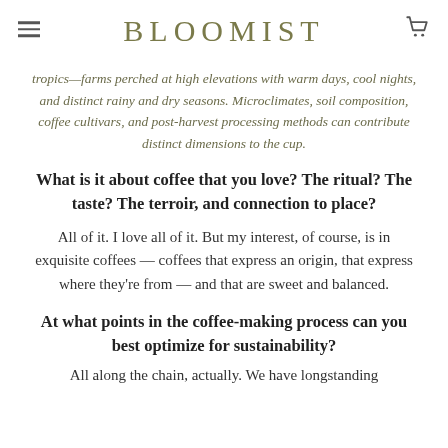BLOOMIST
tropics—farms perched at high elevations with warm days, cool nights, and distinct rainy and dry seasons. Microclimates, soil composition, coffee cultivars, and post-harvest processing methods can contribute distinct dimensions to the cup.
What is it about coffee that you love? The ritual? The taste? The terroir, and connection to place?
All of it. I love all of it. But my interest, of course, is in exquisite coffees — coffees that express an origin, that express where they're from — and that are sweet and balanced.
At what points in the coffee-making process can you best optimize for sustainability?
All along the chain, actually. We have longstanding